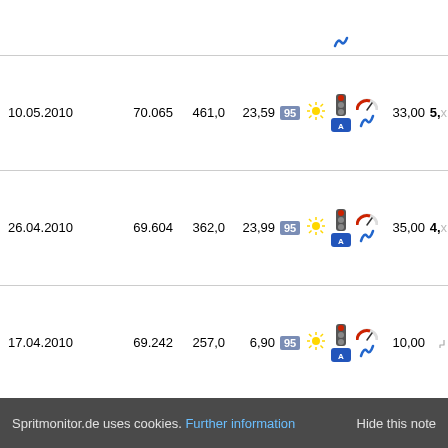| Date | Odometer | Distance | L/100km | Fuel | Weather | Traffic | Road | Speed | Cost |
| --- | --- | --- | --- | --- | --- | --- | --- | --- | --- |
| 10.05.2010 | 70.065 | 461,0 | 23,59 | 95 | sun |  |  | 33,00 | 5,x |
| 26.04.2010 | 69.604 | 362,0 | 23,99 | 95 | sun |  |  | 35,00 | 4,x |
| 17.04.2010 | 69.242 | 257,0 | 6,90 | 95 | sun |  |  | 10,00 |  |
| 11.04.2010 | 68.985 | 472,0 | 22,16 | 95 | snow |  |  | 31,00 | 4,x |
| 01.04.2010 | 68.513 | 408,0 | 19,88 | 95 | snow |  |  | 29,00 | 4,x |
| 21.03.2010 | 68.105 | 367,0 | 17,87 | 95 | snow |  |  | 25,00 | 4,x |
Spritmonitor.de uses cookies. Further information   Hide this note